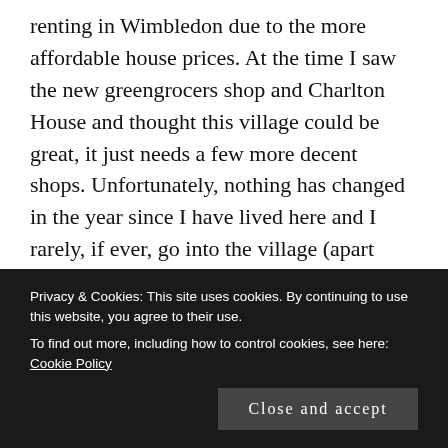renting in Wimbledon due to the more affordable house prices. At the time I saw the new greengrocers shop and Charlton House and thought this village could be great, it just needs a few more decent shops. Unfortunately, nothing has changed in the year since I have lived here and I rarely, if ever, go into the village (apart form the greengrocers on my way home from work). If there was a decent pub/deli/coffee shop/butchers I would visit every weekend. But as is stands I mostly visit Blackheath for these things. There seem to be a lot of shops up for rent or with 'under offer' signs on them in the village, but they seem to have had signs on them for months with no signs of change. The same goes with Charlton
Privacy & Cookies: This site uses cookies. By continuing to use this website, you agree to their use.
To find out more, including how to control cookies, see here: Cookie Policy
Close and accept